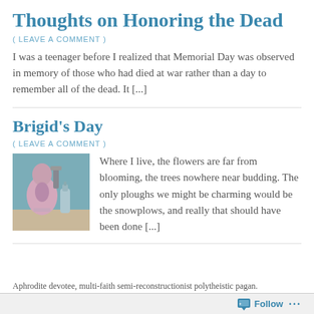Thoughts on Honoring the Dead
( LEAVE A COMMENT )
I was a teenager before I realized that Memorial Day was observed in memory of those who had died at war rather than a day to remember all of the dead. It [...]
Brigid's Day
( LEAVE A COMMENT )
[Figure (photo): A small figurine or statue, possibly of a deity, with a bottle nearby, on a shelf with a teal/turquoise background]
Where I live, the flowers are far from blooming, the trees nowhere near budding. The only ploughs we might be charming would be the snowplows, and really that should have been done [...]
Aphrodite devotee, multi-faith semi-reconstructionist polytheistic pagan.